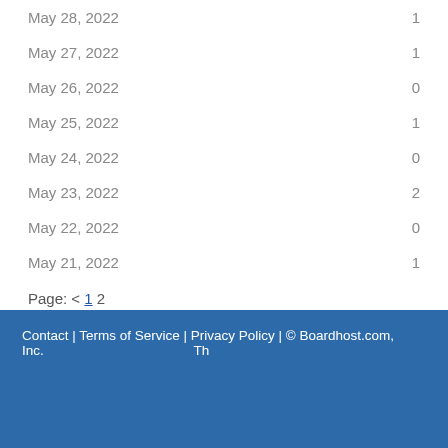| Date | Count |
| --- | --- |
| May 28, 2022 | 1 |
| May 27, 2022 | 1 |
| May 26, 2022 | 0 |
| May 25, 2022 | 1 |
| May 24, 2022 | 0 |
| May 23, 2022 | 2 |
| May 22, 2022 | 0 |
| May 21, 2022 | 1 |
Page: < 1 2
Contact | Terms of Service | Privacy Policy | © Boardhost.com, Inc.  Th